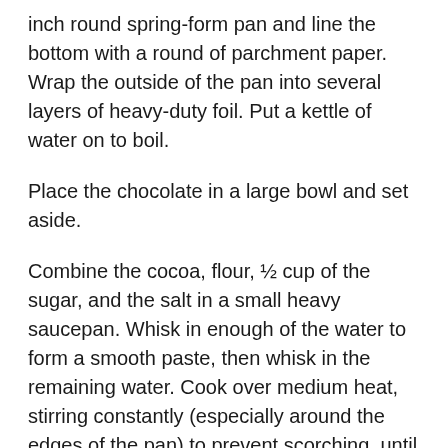inch round spring-form pan and line the bottom with a round of parchment paper. Wrap the outside of the pan into several layers of heavy-duty foil. Put a kettle of water on to boil.
Place the chocolate in a large bowl and set aside.
Combine the cocoa, flour, ½ cup of the sugar, and the salt in a small heavy saucepan. Whisk in enough of the water to form a smooth paste, then whisk in the remaining water. Cook over medium heat, stirring constantly (especially around the edges of the pan) to prevent scorching, until the mixture begins to simmer. Simmer very gently, stirring constantly, for 2 minutes. Immediately pour the hot mixture over the chopped chocolate. Stir until the chocolate is completely melted and smooth. Whisk in the rum and vanilla.